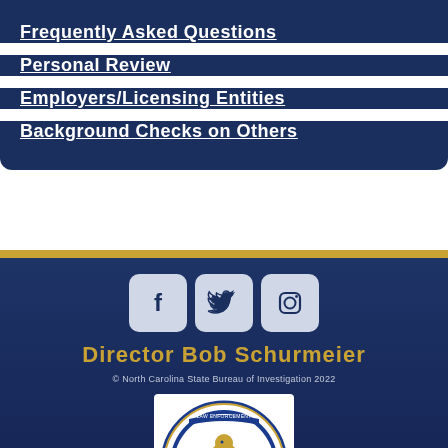Frequently Asked Questions
Personal Review
Employers/Licensing Entities
Background Checks on Others
[Figure (other): Social media icons: Facebook, Twitter, Instagram]
Director Bob Schurmeier
© North Carolina State Bureau of Investigation 2022
[Figure (logo): CALEA Law Enforcement Accreditation seal/badge logo]